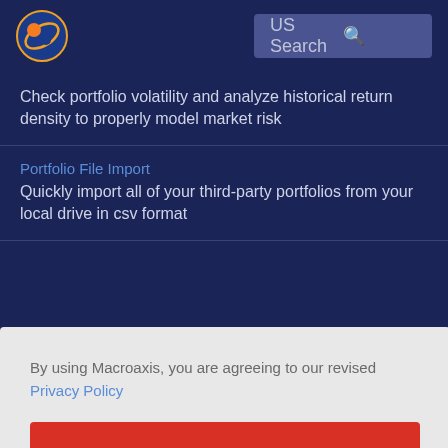US Search
Check portfolio volatility and analyze historical return density to properly model market risk
Portfolio File Import
Quickly import all of your third-party portfolios from your local drive in csv format
By using Macroaxis, you are agreeing to our revised Privacy Policy
OK
Watchlist Optimization